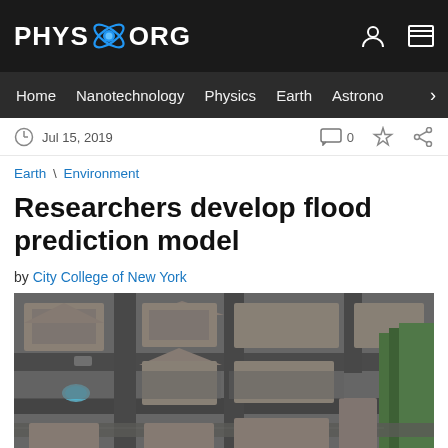PHYS.ORG
Home | Nanotechnology | Physics | Earth | Astronomy >
Jul 15, 2019   0
Earth \ Environment
Researchers develop flood prediction model
by City College of New York
[Figure (photo): Aerial view of a flooded residential neighborhood with houses, streets filled with brown floodwater, swimming pools visible, and trees on the right side.]